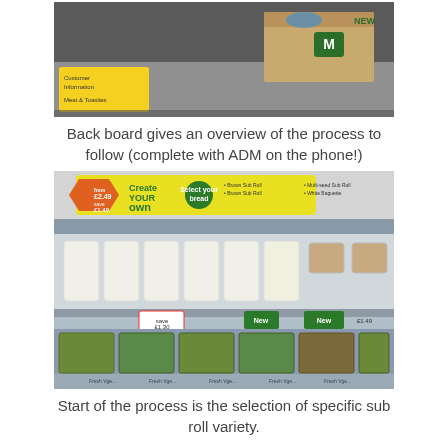[Figure (photo): Photo of a store back board area showing cardboard boxes, shelving, and a yellow sign with 'Customer Information' and 'Meat & Toasties' text. A Morrisons branded box marked 'NEW' is visible.]
Back board gives an overview of the process to follow (complete with ADM on the phone!)
[Figure (photo): Photo of a refrigerated deli/sandwich display case in a supermarket showing wrapped sub rolls on the top shelf and packaged salad/fresh items on the lower shelf. A 'Create Your Own' promotional sign is visible at the top of the case with options for selecting bread. Price labels including 'New' tags are visible.]
Start of the process is the selection of specific sub roll variety.